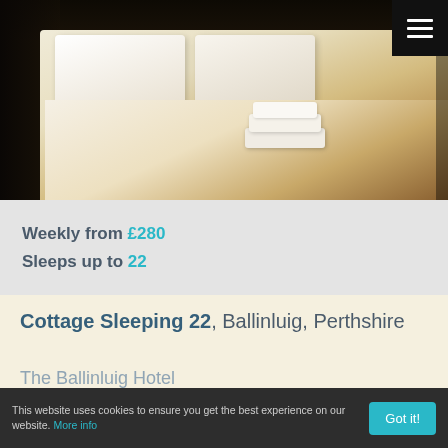[Figure (photo): Hotel bedroom with white double bed, white pillows, folded white towels on bed, dark wood headboard and furniture, warm lighting]
Weekly from £280
Sleeps up to 22
Cottage Sleeping 22, Ballinluig, Perthshire
The Ballinluig Hotel
More Info
This website uses cookies to ensure you get the best experience on our website. More info